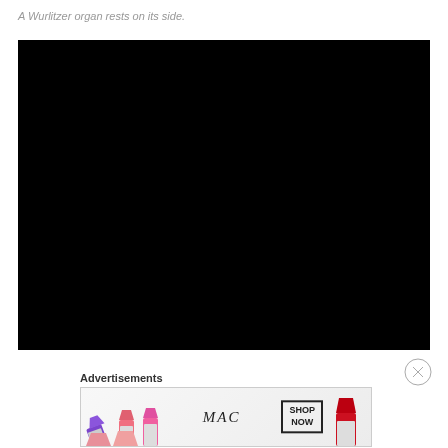A Wurlitzer organ rests on its side.
[Figure (photo): Interior of an abandoned church with arched vaulted ceilings, colorful stained glass windows, rows of dark wooden pews, and deteriorating walls with peeling paint. The perspective is from a balcony level looking toward the altar end.]
[Figure (other): Close button (X in circle) UI element]
Advertisements
[Figure (other): MAC Cosmetics advertisement banner featuring colorful lipsticks on the left, MAC logo in the center, SHOP NOW button box, and red lipstick on the right.]